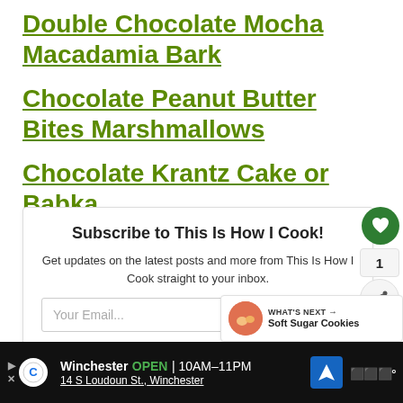Double Chocolate Mocha Macadamia Bark
Chocolate Peanut Butter Bites Marshmallows
Chocolate Krantz Cake or Babka
Subscribe to This Is How I Cook!
Get updates on the latest posts and more from This Is How I Cook straight to your inbox.
Your Email...
WHAT'S NEXT → Soft Sugar Cookies
Winchester OPEN | 10AM–11PM 14 S Loudoun St., Winchester